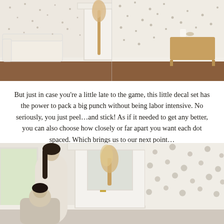[Figure (photo): Two-panel photo showing a bright living room with polka dot wall decals. Left panel shows white sofa near fireplace with pampas grass. Right panel shows wooden side table against dotted wall.]
But just in case you’re a little late to the game, this little decal set has the power to pack a big punch without being labor intensive. No seriously, you just peel…and stick! As if it needed to get any better, you can also choose how closely or far apart you want each dot spaced. Which brings us to our next point…
[Figure (photo): Photo of a woman in a white dress standing near a fireplace in a room with gold/silver polka dot wall decals. Another person is partially visible in the foreground.]